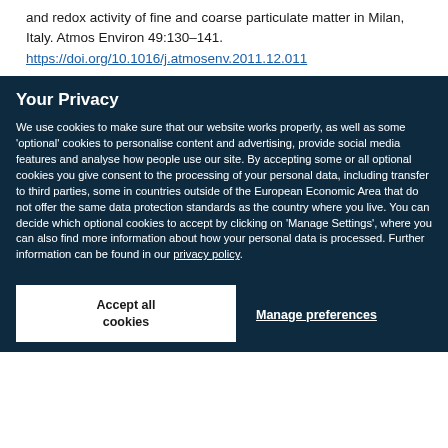and redox activity of fine and coarse particulate matter in Milan, Italy. Atmos Environ 49:130–141.
https://doi.org/10.1016/j.atmosenv.2011.12.011
Your Privacy
We use cookies to make sure that our website works properly, as well as some 'optional' cookies to personalise content and advertising, provide social media features and analyse how people use our site. By accepting some or all optional cookies you give consent to the processing of your personal data, including transfer to third parties, some in countries outside of the European Economic Area that do not offer the same data protection standards as the country where you live. You can decide which optional cookies to accept by clicking on 'Manage Settings', where you can also find more information about how your personal data is processed. Further information can be found in our privacy policy.
Accept all cookies
Manage preferences